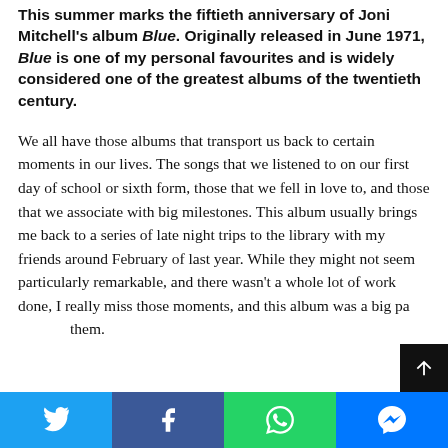This summer marks the fiftieth anniversary of Joni Mitchell's album Blue. Originally released in June 1971, Blue is one of my personal favourites and is widely considered one of the greatest albums of the twentieth century.
We all have those albums that transport us back to certain moments in our lives. The songs that we listened to on our first day of school or sixth form, those that we fell in love to, and those that we associate with big milestones. This album usually brings me back to a series of late night trips to the library with my friends around February of last year. While they might not seem particularly remarkable, and there wasn't a whole lot of work done, I really miss those moments, and this album was a big part of them.
[Figure (other): Social sharing bar with Twitter, Facebook, WhatsApp, and Messenger buttons]